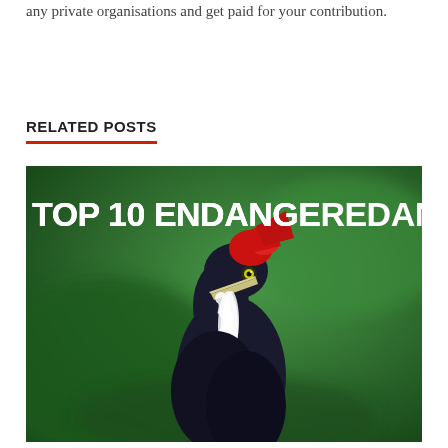any private organisations and get paid for your contribution.
RELATED POSTS
[Figure (photo): A black woodpecker with a red crest and white stripe on its neck, facing left, against a green blurred background. Bold white text reads 'TOP 10 ENDANGERED ANIMALS']